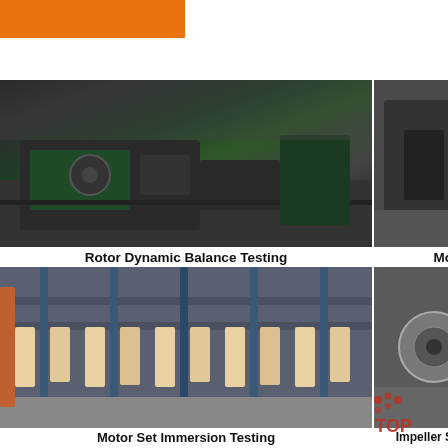[Figure (photo): Orange brand/logo bar at top left]
[Figure (photo): Rotor Dynamic Balance Testing - industrial lathe/balancing machine in factory]
[Figure (photo): Motor Withstand testing - industrial motor testing equipment in factory]
[Figure (photo): 24/7 Online chat overlay with woman wearing headset, Click here for free chat, QUOTATION button]
Rotor Dynamic Balance Testing
Motor Withsta...
[Figure (photo): Motor Set Immersion Testing - overhead crane/conveyor system in factory]
[Figure (photo): Impeller Static Balance Testing - metal parts/components]
Motor Set Immersion Testing
Impeller Static Balance Testing
[Figure (logo): TOP logo in bottom right corner]
Electromote Price List 2021 rev 2 - Electric Motors South ...
2021-5-5u2002·u20023 Ÿ Fully wedged stators Ÿ Thermistors as